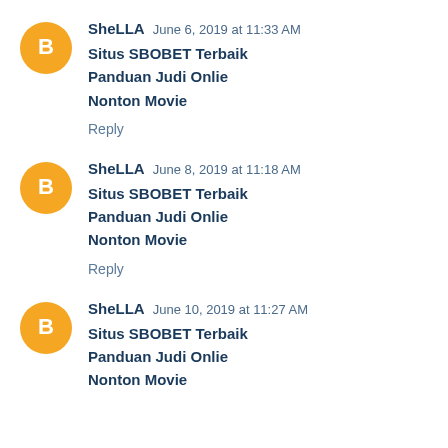SheLLA  June 6, 2019 at 11:33 AM
Situs SBOBET Terbaik
Panduan Judi Onlie
Nonton Movie
Reply
SheLLA  June 8, 2019 at 11:18 AM
Situs SBOBET Terbaik
Panduan Judi Onlie
Nonton Movie
Reply
SheLLA  June 10, 2019 at 11:27 AM
Situs SBOBET Terbaik
Panduan Judi Onlie
Nonton Movie